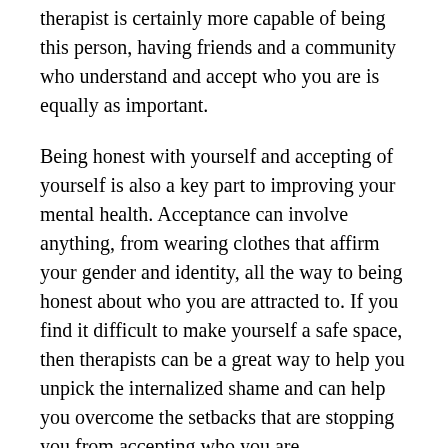therapist is certainly more capable of being this person, having friends and a community who understand and accept who you are is equally as important.
Being honest with yourself and accepting of yourself is also a key part to improving your mental health. Acceptance can involve anything, from wearing clothes that affirm your gender and identity, all the way to being honest about who you are attracted to. If you find it difficult to make yourself a safe space, then therapists can be a great way to help you unpick the internalized shame and can help you overcome the setbacks that are stopping you from accepting who you are.
Getting Help for Comorbid